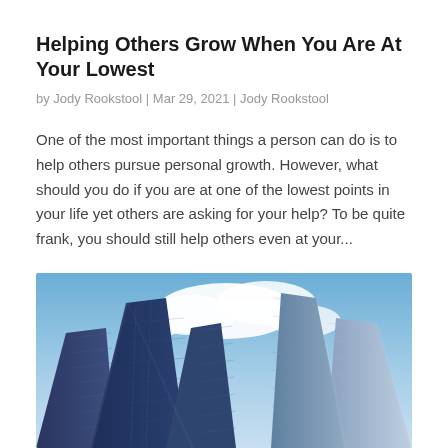Helping Others Grow When You Are At Your Lowest
by Jody Rookstool | Mar 29, 2021 | Jody Rookstool
One of the most important things a person can do is to help others pursue personal growth. However, what should you do if you are at one of the lowest points in your life yet others are asking for your help? To be quite frank, you should still help others even at your...
[Figure (photo): Upward view of tall glass skyscrapers against a blue sky with white clouds]